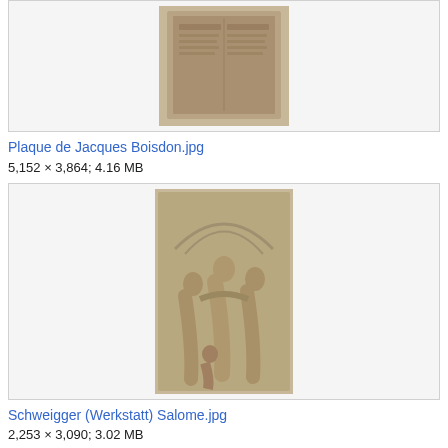[Figure (photo): Partial view of a bronze plaque with text, top of page]
Plaque de Jacques Boisdon.jpg
5,152 × 3,864; 4.16 MB
[Figure (photo): Bronze relief sculpture showing Salome scene with multiple figures in architectural setting]
Schweigger (Werkstatt) Salome.jpg
2,253 × 3,090; 3.02 MB
[Figure (photo): Partial view of another bronze relief sculpture, bottom of page]